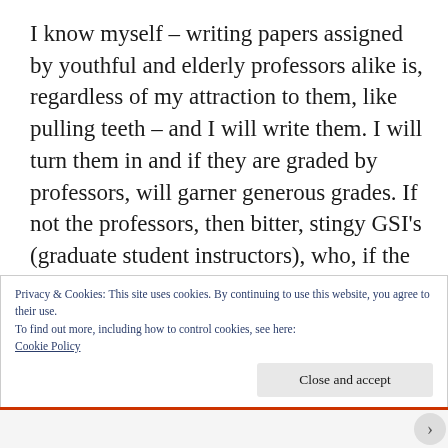I know myself – writing papers assigned by youthful and elderly professors alike is, regardless of my attraction to them, like pulling teeth – and I will write them. I will turn them in and if they are graded by professors, will garner generous grades. If not the professors, then bitter, stingy GSI's (graduate student instructors), who, if the holiday spirit vacates their hearts at the wrong moment, will damn my papers and final grades to scholarly hell
Privacy & Cookies: This site uses cookies. By continuing to use this website, you agree to their use.
To find out more, including how to control cookies, see here:
Cookie Policy
Close and accept